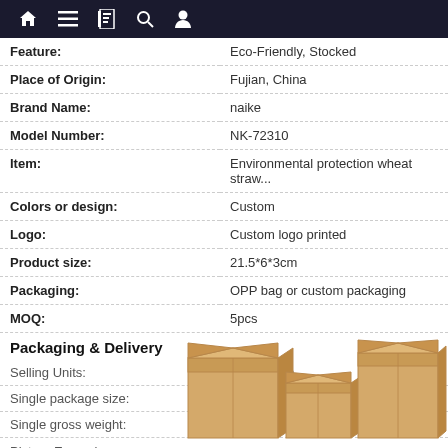Navigation bar with home, menu, book, search, profile icons and back arrow
| Property | Value |
| --- | --- |
| Feature: | Eco-Friendly, Stocked |
| Place of Origin: | Fujian, China |
| Brand Name: | naike |
| Model Number: | NK-72310 |
| Item: | Environmental protection wheat straw... |
| Colors or design: | Custom |
| Logo: | Custom logo printed |
| Product size: | 21.5*6*3cm |
| Packaging: | OPP bag or custom packaging |
| MOQ: | 5pcs |
Packaging & Delivery
| Property | Value |
| --- | --- |
| Selling Units: | Single item |
| Single package size: | 23X7X4 cm |
| Single gross weight: | 0.3 kg |
Picture Example:
[Figure (photo): Cardboard shipping boxes of various sizes stacked together]